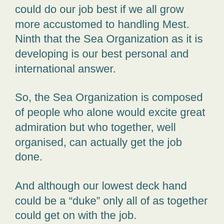could do our job best if we all grow more accustomed to handling Mest. Ninth that the Sea Organization as it is developing is our best personal and international answer.
So, the Sea Organization is composed of people who alone would excite great admiration but who together, well organised, can actually get the job done.
And although our lowest deck hand could be a “duke” only all of as together could get on with the job.
And that’s how and why (with allowances for security in the crypticness of this text) the Sea Organization came into being